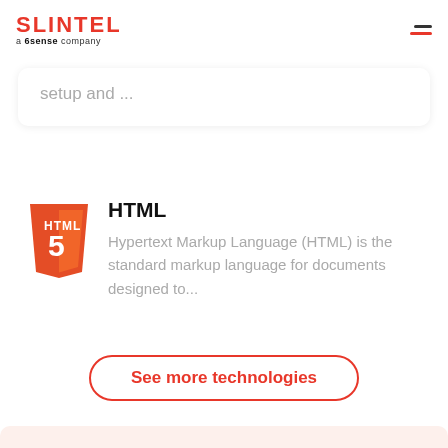SLINTEL a 6sense company
setup and ...
HTML
Hypertext Markup Language (HTML) is the standard markup language for documents designed to...
See more technologies